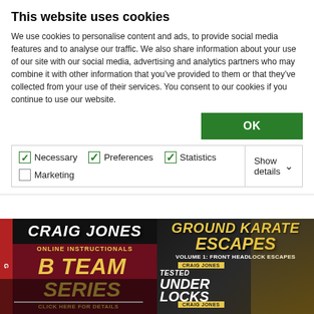This website uses cookies
We use cookies to personalise content and ads, to provide social media features and to analyse our traffic. We also share information about your use of our site with our social media, advertising and analytics partners who may combine it with other information that you've provided to them or that they've collected from your use of their services. You consent to our cookies if you continue to use our website.
OK
Necessary  Preferences  Statistics  Marketing  Show details
[Figure (photo): Advertisement banners: Craig Jones B Team Series Online Instructionals and Ground Karate Escapes Volume 1 Front Headlock Escapes, Tested Under Locks]